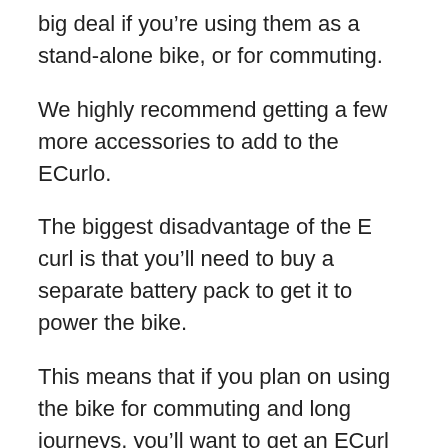big deal if you're using them as a stand-alone bike, or for commuting.
We highly recommend getting a few more accessories to add to the ECurlo.
The biggest disadvantage of the E curl is that you'll need to buy a separate battery pack to get it to power the bike.
This means that if you plan on using the bike for commuting and long journeys, you'll want to get an ECurl battery pack, rather than an electric one.
The reason we recommend getting an E Curl is